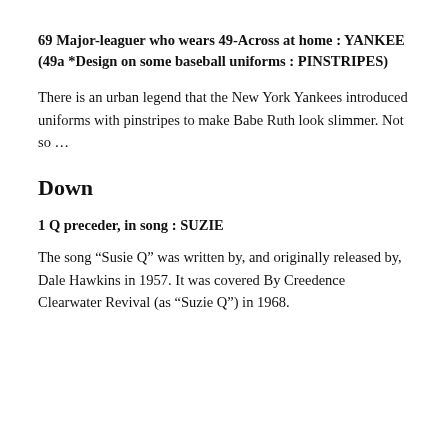69 Major-leaguer who wears 49-Across at home : YANKEE
(49a *Design on some baseball uniforms : PINSTRIPES)
There is an urban legend that the New York Yankees introduced uniforms with pinstripes to make Babe Ruth look slimmer. Not so …
Down
1 Q preceder, in song : SUZIE
The song “Susie Q” was written by, and originally released by, Dale Hawkins in 1957. It was covered By Creedence Clearwater Revival (as “Suzie Q”) in 1968.